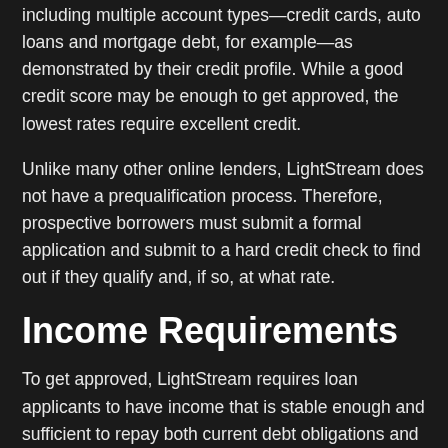including multiple account types—credit cards, auto loans and mortgage debt, for example—as demonstrated by their credit profile. While a good credit score may be enough to get approved, the lowest rates require excellent credit.
Unlike many other online lenders, LightStream does not have a prequalification process. Therefore, prospective borrowers must submit a formal application and submit to a hard credit check to find out if they qualify and, if so, at what rate.
Income Requirements
To get approved, LightStream requires loan applicants to have income that is stable enough and sufficient to repay both current debt obligations and a new LightStream loan. In addition to income requirements, LightStream evaluates applicants based on their liquid assets, cash down